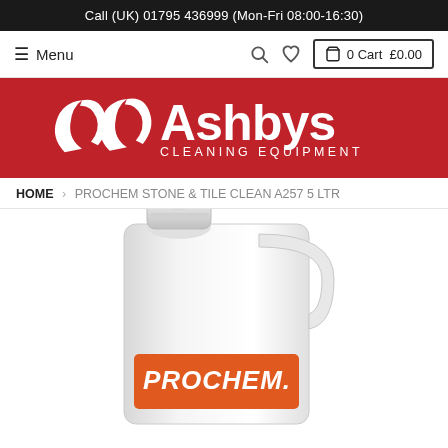Call (UK) 01795 436999 (Mon-Fri 08:00-16:30)
≡ Menu | 🔍 ♡ | 🛒 0 Cart £0.00
[Figure (logo): Ashbys Cleaning Equipment logo — white stylized 'a' icon and 'Ashbys CLEANING EQUIPMENT' text on red background]
HOME › PROCHEM STONE & TILE CLEAN A257 5 LTR
[Figure (photo): White plastic 5-litre jerry can / container with a handle and screw cap, featuring an orange label with white italic text reading 'PROCHEM.' — product photo on white background]